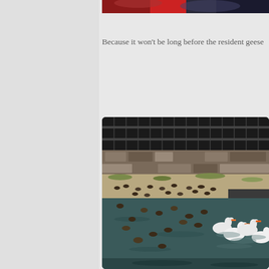[Figure (photo): Partial view of a photo at the top showing a dark scene with red tones, cropped at the top of the page]
Because it won't be long before the resident geese
[Figure (photo): Photo of a lake or pond with multiple white geese and ducks swimming in dark water. In the background there is a stone wall and a fence with people visible. The geese in the foreground are white with orange beaks. Many brown ducks are scattered across the water and on a sandy shore area.]